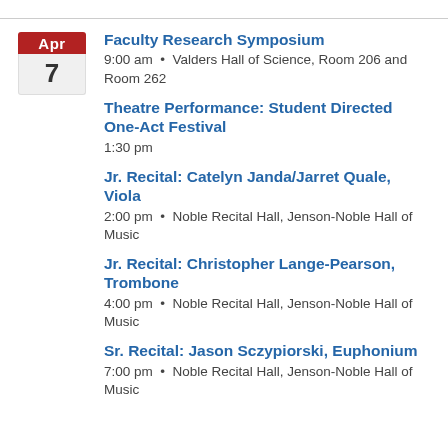Faculty Research Symposium
9:00 am • Valders Hall of Science, Room 206 and Room 262
Theatre Performance: Student Directed One-Act Festival
1:30 pm
Jr. Recital: Catelyn Janda/Jarret Quale, Viola
2:00 pm • Noble Recital Hall, Jenson-Noble Hall of Music
Jr. Recital: Christopher Lange-Pearson, Trombone
4:00 pm • Noble Recital Hall, Jenson-Noble Hall of Music
Sr. Recital: Jason Sczypiorski, Euphonium
7:00 pm • Noble Recital Hall, Jenson-Noble Hall of Music